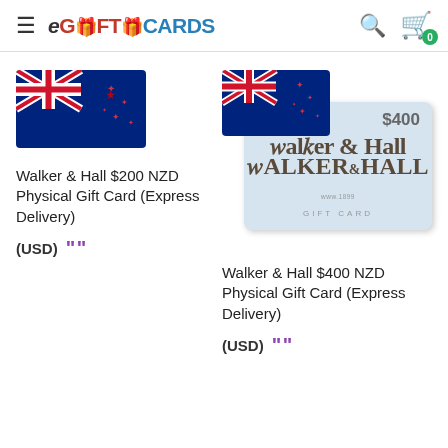eGiftCards — navigation header with hamburger menu, logo, search, and cart
[Figure (screenshot): New Zealand flag for Walker & Hall $200 NZD product]
[Figure (screenshot): New Zealand flag overlapping Walker & Hall $400 gift card image showing brand logo and $400 amount]
Walker & Hall $200 NZD Physical Gift Card (Express Delivery)
(USD)
Walker & Hall $400 NZD Physical Gift Card (Express Delivery)
(USD)